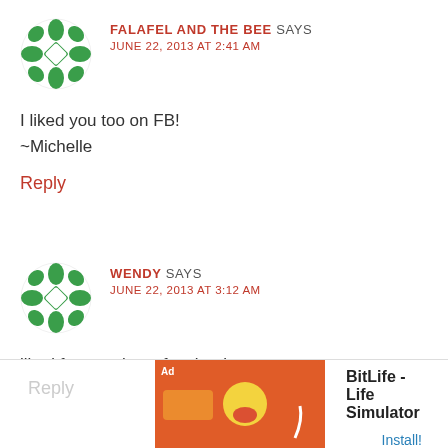[Figure (illustration): Green decorative avatar icon (flower/geometric pattern) for user Falafel and the Bee]
FALAFEL AND THE BEE SAYS
JUNE 22, 2013 AT 2:41 AM
I liked you too on FB!
~Michelle
Reply
[Figure (illustration): Green decorative avatar icon (flower/geometric pattern) for user Wendy]
WENDY SAYS
JUNE 22, 2013 AT 3:12 AM
liked fort magic on facebook
Reply
[Figure (screenshot): Ad banner for BitLife - Life Simulator app with orange background and game graphics]
BitLife - Life Simulator
Install!